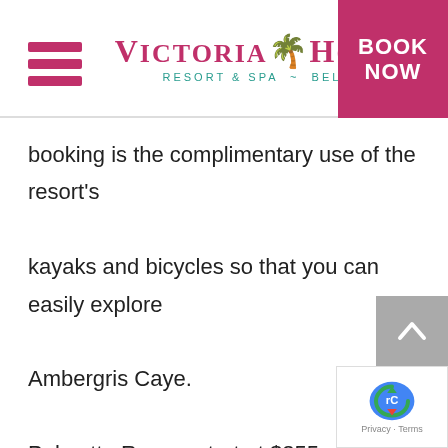Victoria House Resort & Spa – Belize | BOOK NOW
booking is the complimentary use of the resort's kayaks and bicycles so that you can easily explore Ambergris Caye.

Palmetto Rooms start at $355 USD/night.
Amenities
Down Duvets
Bathrobes